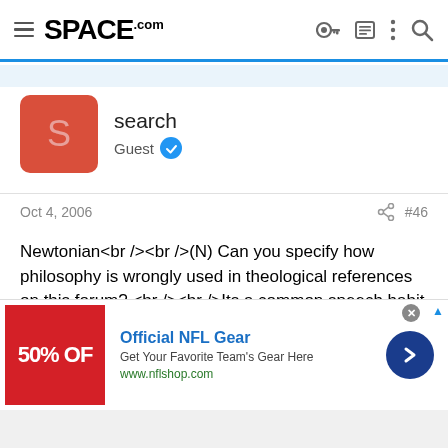SPACE.com
search
Guest
Oct 4, 2006   #46
Newtonian<br /><br />(N) Can you specify how philosophy is wrongly used in theological references on this forum? <br /><br />Its a common speech habit and sometimes people respond to theological comments by saing "stop being philosofic"<br /><br />(N) Man is special in certain ways - one obvious one being that we do not have chimps posting on this forum. <br /><br />Beware if what you say is incorrect or not scientific because there is one jumping
[Figure (screenshot): Advertisement banner: Official NFL Gear - Get Your Favorite Team's Gear Here - www.nflshop.com - with red image showing 50% OFF]